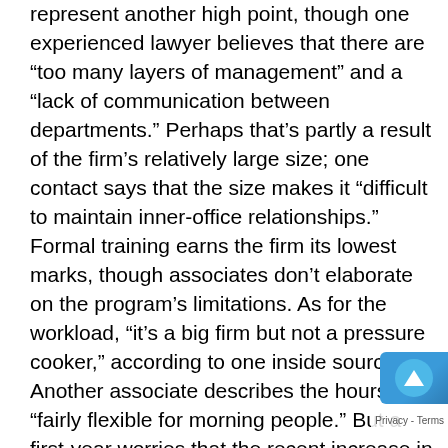represent another high point, though one experienced lawyer believes that there are “too many layers of management” and a “lack of communication between departments.” Perhaps that’s partly a result of the firm’s relatively large size; one contact says that the size makes it “difficult to maintain inner-office relationships.” Formal training earns the firm its lowest marks, though associates don’t elaborate on the program’s limitations. As for the workload, “it’s a big firm but not a pressure cooker,” according to one inside source. Another associate describes the hours as “fairly flexible for morning people.” But a first-year worries that the recent increase in salary Visit the Vault Law Channel at www.vault.com/law – featuring firm profiles, message boards, the Vault Law Job Board, and more. 81 •Vault Guide to the Top Texas & Southwest Law Firms Cox Smith Matthews Incorporated will result in a higher minimum billable hour requirement. Other attorneys express concern that the absence of a part-time policy makes it harder for the firm to retain